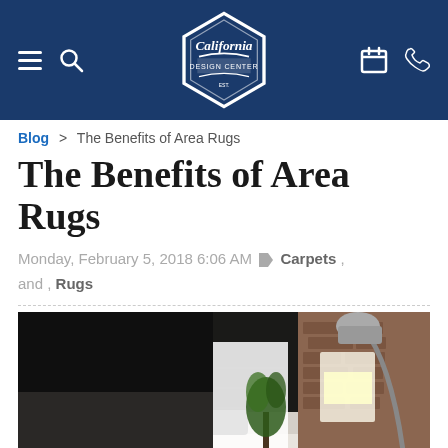[Figure (logo): California Design Center logo on dark navy navigation bar with hamburger menu, search icon, calendar icon, and phone icon]
Blog > The Benefits of Area Rugs
The Benefits of Area Rugs
Monday, February 5, 2018 6:06 AM Carpets , and , Rugs
[Figure (photo): Interior living room with white sofa, black accents, arc floor lamp with chrome shade, brick wall, white shelving with light panels, and indoor plant]